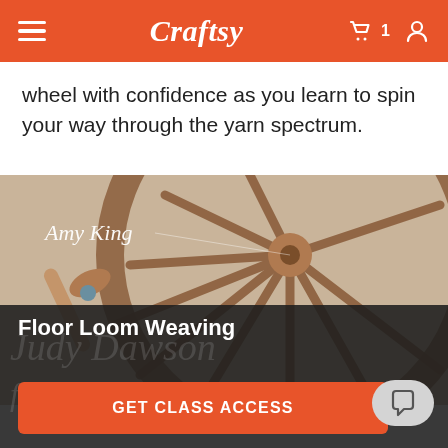Craftsy
wheel with confidence as you learn to spin your way through the yarn spectrum.
[Figure (photo): Close-up photograph of a wooden spinning wheel with spokes radiating from center, with text 'Amy King' in cursive in upper left corner. The image transitions into a dark overlay at the bottom showing 'Floor Loom Weaving' text.]
Floor Loom Weaving
GET CLASS ACCESS